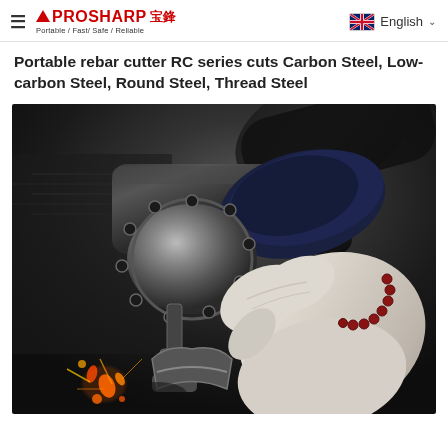≡  PROSHARP 宝鋒  Portable / Fast/ Safe / Reliable    🇬🇧 English ∨
Portable rebar cutter RC series cuts Carbon Steel, Low-carbon Steel, Round Steel, Thread Steel
[Figure (photo): Close-up photo of a person wearing a white work glove and a red bead bracelet holding a portable rebar cutter (RC series) with a metallic circular cutting head with black bolts around its circumference. Sparks and metal debris are visible in the background, suggesting active cutting of steel rebar.]